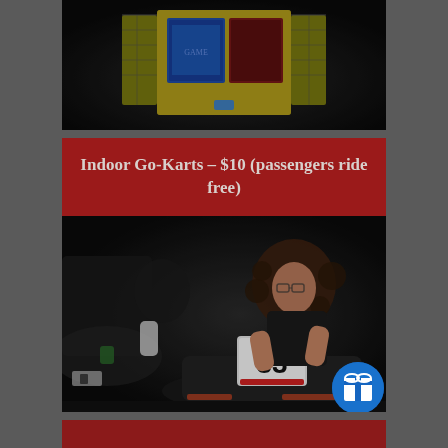[Figure (photo): Dark photo of an arcade skee-ball or ticket redemption machine from behind, showing yellow cage/netting structure, blue and red game screen panels, with players visible in dim lighting.]
Indoor Go-Karts – $10 (passengers ride free)
[Figure (photo): Photo of people riding indoor go-karts in a dark venue. A girl with curly hair is driving kart number 33. Another person is visible on the left. The scene is dimly lit.]
[Figure (illustration): Blue circular gift/reward icon in bottom right corner of the go-kart photo section.]